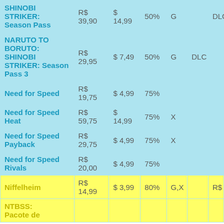| Name | BRL | USD | % | Flag | Type | Extra |
| --- | --- | --- | --- | --- | --- | --- |
| SHINOBI STRIKER: Season Pass | R$ 39,90 | $ 14,99 | 50% | G |  | DLC |
| NARUTO TO BORUTO: SHINOBI STRIKER: Season Pass 3 | R$ 29,95 | $ 7,49 | 50% | G | DLC |  |
| Need for Speed | R$ 19,75 | $ 4,99 | 75% |  |  |  |
| Need for Speed Heat | R$ 59,75 | $ 14,99 | 75% | X |  |  |
| Need for Speed Payback | R$ 29,75 | $ 4,99 | 75% | X |  |  |
| Need for Speed Rivals | R$ 20,00 | $ 4,99 | 75% |  |  |  |
| Niffelheim | R$ 14,99 | $ 3,99 | 80% | G,X |  | R$ |
| NTBSS: Pacote de... |  |  |  |  |  |  |